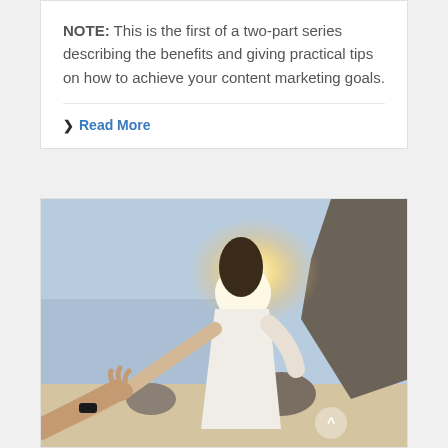NOTE: This is the first of a two-part series describing the benefits and giving practical tips on how to achieve your content marketing goals.
❯ Read More
[Figure (photo): A woman in a white dress on a beach holding hands with someone, with sun glare behind her and rocky cliffs in the background.]